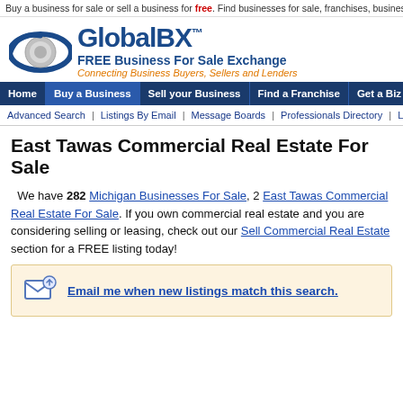Buy a business for sale or sell a business for free. Find businesses for sale, franchises, business brokers &
[Figure (logo): GlobalBX logo with eye icon, FREE Business For Sale Exchange tagline, Connecting Business Buyers, Sellers and Lenders]
Home | Buy a Business | Sell your Business | Find a Franchise | Get a Biz Loan | Resource Center
Advanced Search | Listings By Email | Message Boards | Professionals Directory | Loans & Finan
East Tawas Commercial Real Estate For Sale
We have 282 Michigan Businesses For Sale, 2 East Tawas Commercial Real Estate For Sale. If you own commercial real estate and you are considering selling or leasing, check out our Sell Commercial Real Estate section for a FREE listing today!
Email me when new listings match this search.